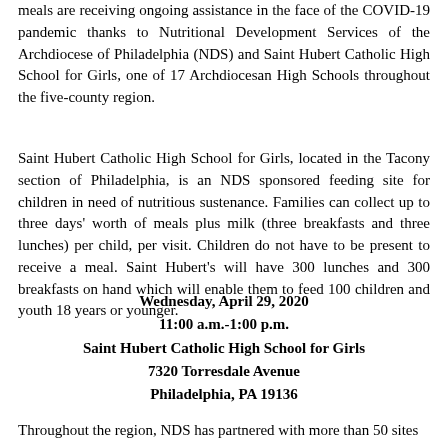meals are receiving ongoing assistance in the face of the COVID-19 pandemic thanks to Nutritional Development Services of the Archdiocese of Philadelphia (NDS) and Saint Hubert Catholic High School for Girls, one of 17 Archdiocesan High Schools throughout the five-county region.
Saint Hubert Catholic High School for Girls, located in the Tacony section of Philadelphia, is an NDS sponsored feeding site for children in need of nutritious sustenance. Families can collect up to three days' worth of meals plus milk (three breakfasts and three lunches) per child, per visit. Children do not have to be present to receive a meal. Saint Hubert's will have 300 lunches and 300 breakfasts on hand which will enable them to feed 100 children and youth 18 years or younger.
Wednesday, April 29, 2020
11:00 a.m.-1:00 p.m.
Saint Hubert Catholic High School for Girls
7320 Torresdale Avenue
Philadelphia, PA 19136
Throughout the region, NDS has partnered with more than 50 sites